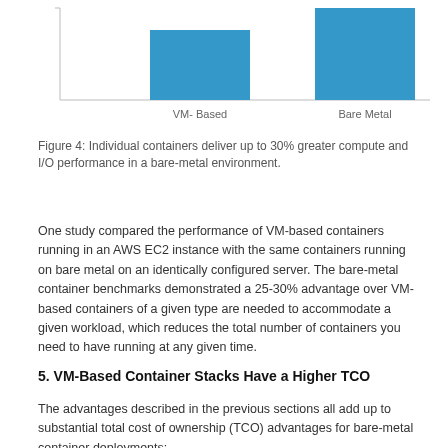[Figure (bar-chart): VM-Based vs Bare Metal performance]
Figure 4: Individual containers deliver up to 30% greater compute and I/O performance in a bare-metal environment.
One study compared the performance of VM-based containers running in an AWS EC2 instance with the same containers running on bare metal on an identically configured server. The bare-metal container benchmarks demonstrated a 25-30% advantage over VM-based containers of a given type are needed to accommodate a given workload, which reduces the total number of containers you need to have running at any given time.
5. VM-Based Container Stacks Have a Higher TCO
The advantages described in the previous sections all add up to substantial total cost of ownership (TCO) advantages for bare-metal container deployments: